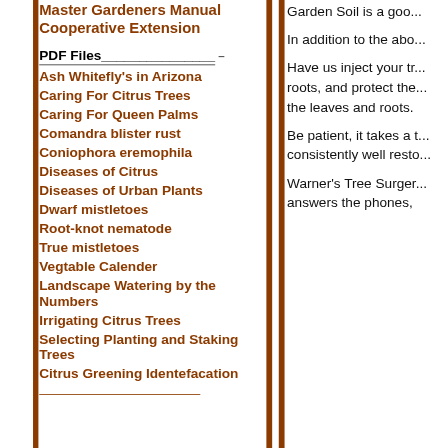Master Gardeners Manual Cooperative Extension
PDF Files
Ash Whitefly's in Arizona
Caring For Citrus Trees
Caring For Queen Palms
Comandra blister rust
Coniophora eremophila
Diseases of Citrus
Diseases of Urban Plants
Dwarf mistletoes
Root-knot nematode
True mistletoes
Vegtable Calender
Landscape Watering by the Numbers
Irrigating Citrus Trees
Selecting Planting and Staking Trees
Citrus Greening Identefacation
Garden Soil is a goo...
In addition to the abo...
Have us inject your tr... roots, and protect the... the leaves and roots.
Be patient, it takes a t... consistently well resto...
Warner's Tree Surger... answers the phones,